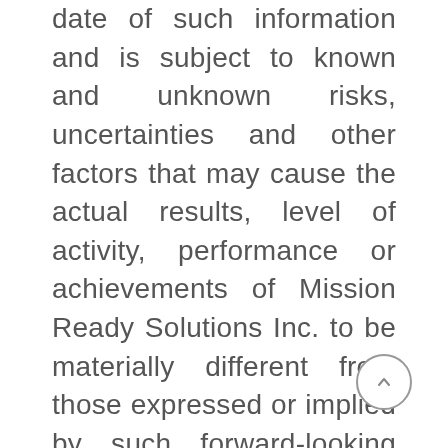date of such information and is subject to known and unknown risks, uncertainties and other factors that may cause the actual results, level of activity, performance or achievements of Mission Ready Solutions Inc. to be materially different from those expressed or implied by such forward-looking information. There can be no assurance that such information will prove to be accurate, as actual results and future events could differ materially from those anticipated in such information. Accordingly, readers should not place undue reliance on forward-